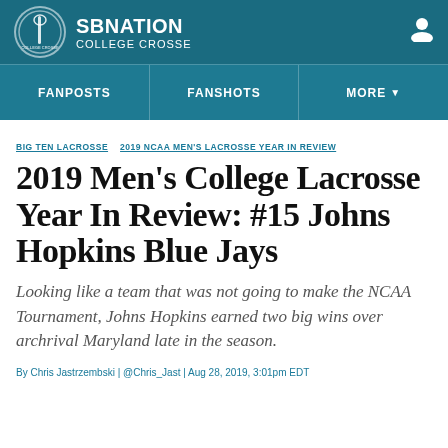SB NATION COLLEGE CROSSE
FANPOSTS  FANSHOTS  MORE
BIG TEN LACROSSE  2019 NCAA MEN'S LACROSSE YEAR IN REVIEW
2019 Men's College Lacrosse Year In Review: #15 Johns Hopkins Blue Jays
Looking like a team that was not going to make the NCAA Tournament, Johns Hopkins earned two big wins over archrival Maryland late in the season.
By Chris Jastrzembski | @Chris_Jast | Aug 28, 2019, 3:01pm EDT